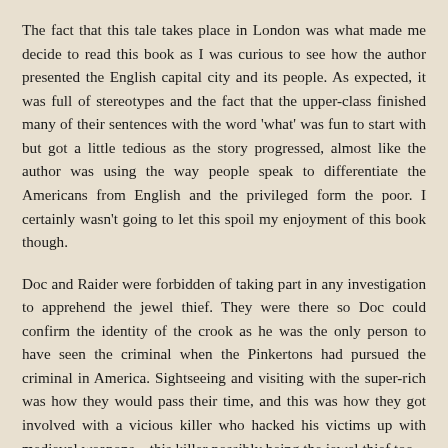The fact that this tale takes place in London was what made me decide to read this book as I was curious to see how the author presented the English capital city and its people. As expected, it was full of stereotypes and the fact that the upper-class finished many of their sentences with the word 'what' was fun to start with but got a little tedious as the story progressed, almost like the author was using the way people speak to differentiate the Americans from English and the privileged form the poor. I certainly wasn't going to let this spoil my enjoyment of this book though.
Doc and Raider were forbidden of taking part in any investigation to apprehend the jewel thief. They were there so Doc could confirm the identity of the crook as he was the only person to have seen the criminal when the Pinkertons had pursued the criminal in America. Sightseeing and visiting with the super-rich was how they would pass their time, and this was how they got involved with a vicious killer who hacked his victims up with medieval weapons – this killer possibly being the jewel thief too.
As usual Doc and Raider squabble about how to pass their